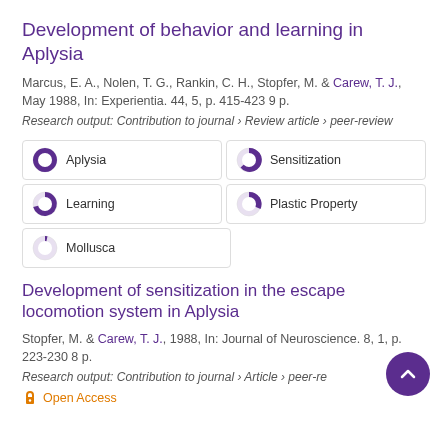Development of behavior and learning in Aplysia
Marcus, E. A., Nolen, T. G., Rankin, C. H., Stopfer, M. & Carew, T. J., May 1988, In: Experientia. 44, 5, p. 415-423 9 p.
Research output: Contribution to journal › Review article › peer-review
[Figure (infographic): Keyword badges with donut chart icons: Aplysia (100%), Sensitization (~85%), Learning (~65%), Plastic Property (~60%), Mollusca (~20%)]
Development of sensitization in the escape locomotion system in Aplysia
Stopfer, M. & Carew, T. J., 1988, In: Journal of Neuroscience. 8, 1, p. 223-230 8 p.
Research output: Contribution to journal › Article › peer-re
Open Access